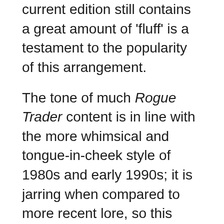current edition still contains a great amount of 'fluff' is a testament to the popularity of this arrangement.
The tone of much Rogue Trader content is in line with the more whimsical and tongue-in-cheek style of 1980s and early 1990s; it is jarring when compared to more recent lore, so this material is rarely mentioned in modern publications. Nonetheless, the opening text was highly similar to the later editions' and to the opening texts of Black Library publications.
Also illustrative of the style is that the inside covers of the book were decorated with caricatures of members of Games Workshop staff. Additionally, the physical rule book, itself, was also notorious for poor construction, as the pages